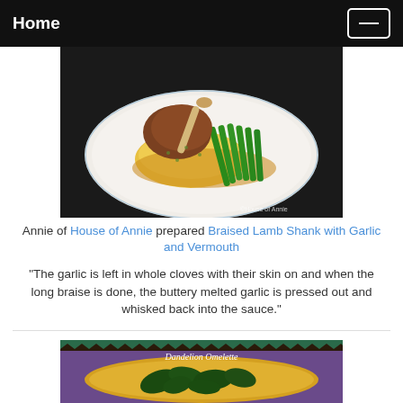Home
[Figure (photo): A plate with braised lamb shank on yellow polenta with green beans, with watermark 'House of Annie']
Annie of House of Annie prepared Braised Lamb Shank with Garlic and Vermouth
"The garlic is left in whole cloves with their skin on and when the long braise is done, the buttery melted garlic is pressed out and whisked back into the sauce."
[Figure (photo): A dish labeled 'Dandelion Omelette' showing an omelette with dark green leafy vegetables on a purple plate]